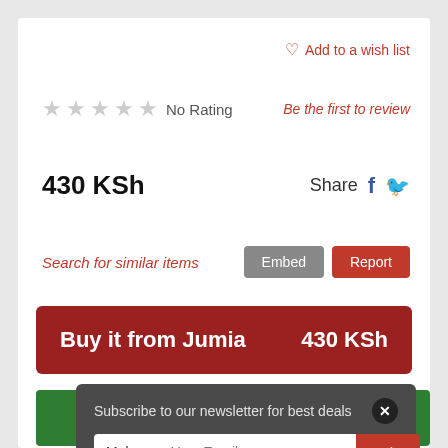Add to a wish list
★★★★★ No Rating
Be the first to review
430 KSh
Share
Search for similar items
Embed
Report
Buy it from Jumia   430 KSh
Subscribe to our newsletter for best deals
Male   Your Email   Join